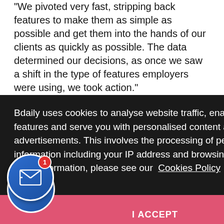“We pivoted very fast, stripping back features to make them as simple as possible and get them into the hands of our clients as quickly as possible. The data determined our decisions, as once we saw a shift in the type of features employers were using, we took action.”
Price added: “It’s our mission at BrightHR to make it easier for employers to run their business. Right now, it’s really to... in the charity se... ng up with N... or, to give their m... are and s...
Andrew Walker, Head of Member SMB and Enterprise at Bdaily:
[Figure (screenshot): Cookie consent overlay with dark background reading: 'Bdaily uses cookies to analyse website traffic, enable social media features and serve you with personalised content and advertisements. This involves the processing of personal information including your IP address and browsing behaviour. For more information, please see our Cookies Policy' with an I ACCEPT button in red/pink at the bottom.]
“Charities are playing a vital role in responding to the